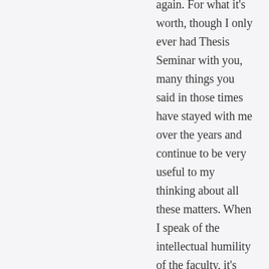again. For what it's worth, though I only ever had Thesis Seminar with you, many things you said in those times have stayed with me over the years and continue to be very useful to my thinking about all these matters. When I speak of the intellectual humility of the faculty, it's always you and Mr. Schlect, and various self-criticism-